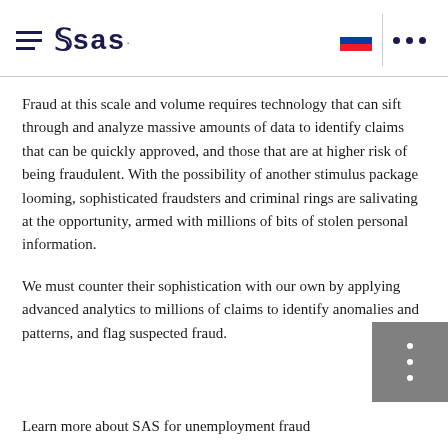SAS logo header with hamburger menu, Slovak flag, and dots menu
Fraud at this scale and volume requires technology that can sift through and analyze massive amounts of data to identify claims that can be quickly approved, and those that are at higher risk of being fraudulent. With the possibility of another stimulus package looming, sophisticated fraudsters and criminal rings are salivating at the opportunity, armed with millions of bits of stolen personal information.
We must counter their sophistication with our own by applying advanced analytics to millions of claims to identify anomalies and patterns, and flag suspected fraud.
Learn more about SAS for unemployment fraud